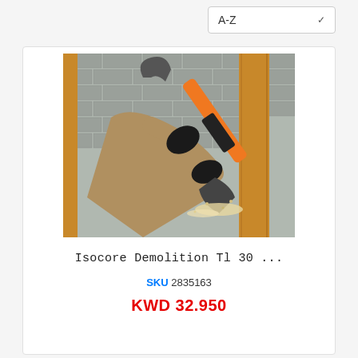A-Z
[Figure (photo): Person wearing gloves using a Fiskars Isocore demolition tool with an orange and black handle to pry apart wooden framing lumber, with sawdust and debris visible. Brick wall in background.]
Isocore Demolition Tl 30 ...
SKU 2835163
KWD 32.950